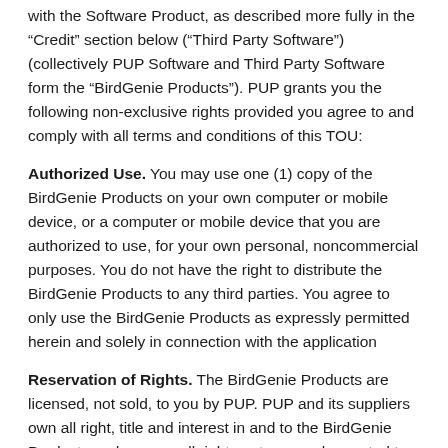with the Software Product, as described more fully in the “Credit” section below (“Third Party Software”) (collectively PUP Software and Third Party Software form the “BirdGenie Products”). PUP grants you the following non-exclusive rights provided you agree to and comply with all terms and conditions of this TOU:
Authorized Use. You may use one (1) copy of the BirdGenie Products on your own computer or mobile device, or a computer or mobile device that you are authorized to use, for your own personal, noncommercial purposes. You do not have the right to distribute the BirdGenie Products to any third parties. You agree to only use the BirdGenie Products as expressly permitted herein and solely in connection with the application
Reservation of Rights. The BirdGenie Products are licensed, not sold, to you by PUP. PUP and its suppliers own all right, title and interest in and to the BirdGenie Products and reserve all rights not expressly granted to